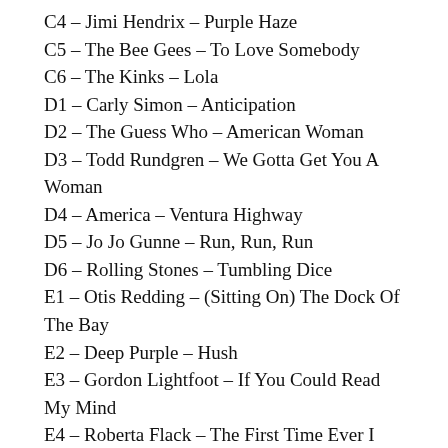C4 – Jimi Hendrix – Purple Haze
C5 – The Bee Gees – To Love Somebody
C6 – The Kinks – Lola
D1 – Carly Simon – Anticipation
D2 – The Guess Who – American Woman
D3 – Todd Rundgren – We Gotta Get You A Woman
D4 – America – Ventura Highway
D5 – Jo Jo Gunne – Run, Run, Run
D6 – Rolling Stones – Tumbling Dice
E1 – Otis Redding – (Sitting On) The Dock Of The Bay
E2 – Deep Purple – Hush
E3 – Gordon Lightfoot – If You Could Read My Mind
E4 – Roberta Flack – The First Time Ever I Saw